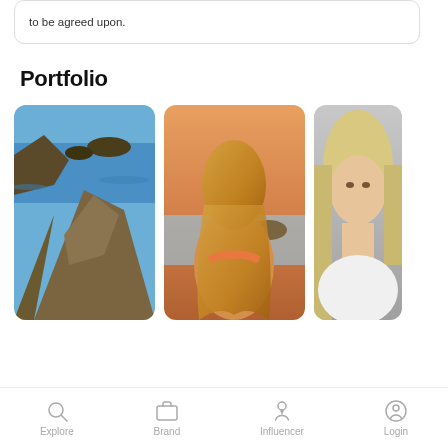to be agreed upon.
Portfolio
[Figure (photo): Coastal rocky cliff landscape with blue ocean and islands in background]
[Figure (photo): Blonde woman photographed from behind at sunset on a beach]
[Figure (photo): Blonde woman facing camera, partially cropped]
Explore   Brand   Influencer   Login